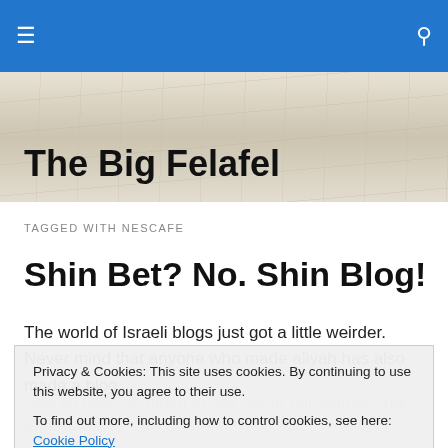☰  🔍
The Big Felafel
TAGGED WITH NESCAFE
Shin Bet? No. Shin Blog!
The world of Israeli blogs just got a little weirder. Never mind that anyone who made aliyah has also made a blog (We all have so much to say about our journey that and pictures!!), votes to use Israeli ones. Even the Shin Bet- Israel's version of the FBI- is blogging too. Shin Bet? No. Shin Blog!
Privacy & Cookies: This site uses cookies. By continuing to use this website, you agree to their use.
To find out more, including how to control cookies, see here: Cookie Policy
Close and accept